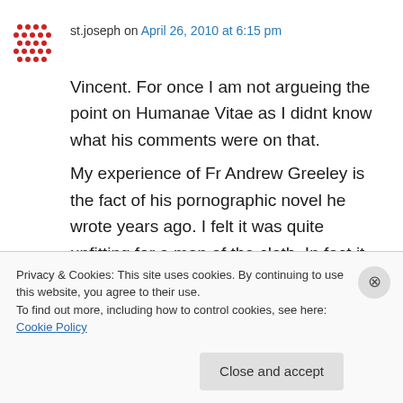st.joseph on April 26, 2010 at 6:15 pm
Vincent. For once I am not argueing the point on Humanae Vitae as I didnt know what his comments were on that.
My experience of Fr Andrew Greeley is the fact of his pornographic novel he wrote years ago. I felt it was quite unfitting for a man of the cloth. In fact it was the one time I wrote to Rome to Cardinal Gagnon and did receive a reply. Which I still have!
Privacy & Cookies: This site uses cookies. By continuing to use this website, you agree to their use.
To find out more, including how to control cookies, see here: Cookie Policy
Close and accept